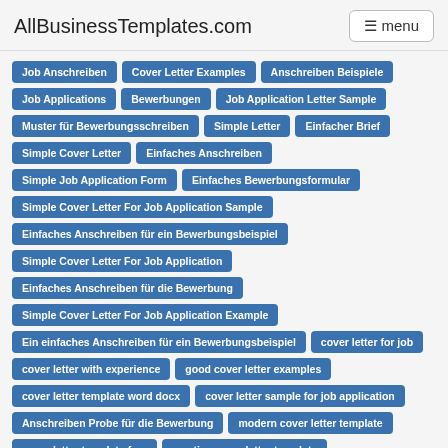AllBusinessTemplates.com
Job Anschreiben
Cover Letter Examples
Anschreiben Beispiele
Job Applications
Bewerbungen
Job Application Letter Sample
Muster für Bewerbungsschreiben
Simple Letter
Einfacher Brief
Simple Cover Letter
Einfaches Anschreiben
Simple Job Application Form
Einfaches Bewerbungsformular
Simple Cover Letter For Job Application Sample
Einfaches Anschreiben für ein Bewerbungsbeispiel
Simple Cover Letter For Job Application
Einfaches Anschreiben für die Bewerbung
Simple Cover Letter For Job Application Example
Ein einfaches Anschreiben für ein Bewerbungsbeispiel
cover letter for job
cover letter with experience
good cover letter examples
cover letter template word docx
cover letter sample for job application
Anschreiben Probe für die Bewerbung
modern cover letter template
cover letter template free
creative cover letter template
follow up letter templates
request letter templates
cover letter body
is it ok to use a template
profession cover letter
seeking job letter
cover letter for job example
perfect cover letter for any job
public administration cover letter
short cover letter template